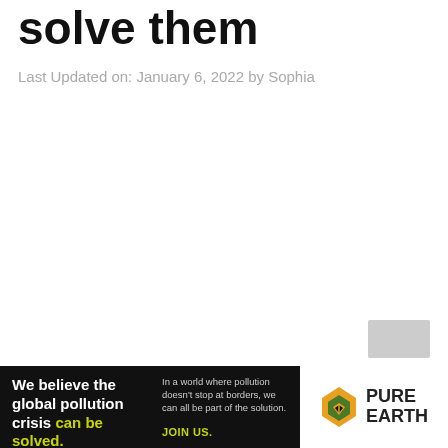solve them
Last Updated on: January 6, 2022 by Sophia
[Figure (other): Small gray rectangle button/thumbnail in lower right area]
[Figure (other): Pure Earth advertisement banner. Left black section: 'We believe the global pollution crisis can be solved.' Right white section with Pure Earth logo (diamond shape with downward arrow) and text 'PURE EARTH'. Center text: 'In a world where pollution doesn't stop at borders, we can all be part of the solution. JOIN US.']